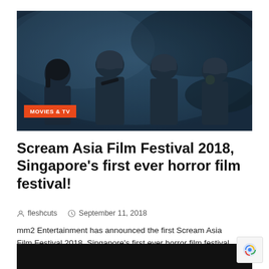[Figure (photo): Hero image showing four people in tactical/military gear and helmets in a dark, smoky scene with blue-tinted lighting. A red 'MOVIES & TV' badge overlays the bottom-left corner.]
Scream Asia Film Festival 2018, Singapore's first ever horror film festival!
fleshcuts   September 11, 2018
mm2 Entertainment has announced the first Scream Asia Film Festival 2018, Singapore's first ever horror film festival, which will start on the 19.Oct. From the press release, the festivals will show a total of 11 feature films and one short film,
[Figure (photo): Bottom partial image, dark/black background, cut off at page bottom.]